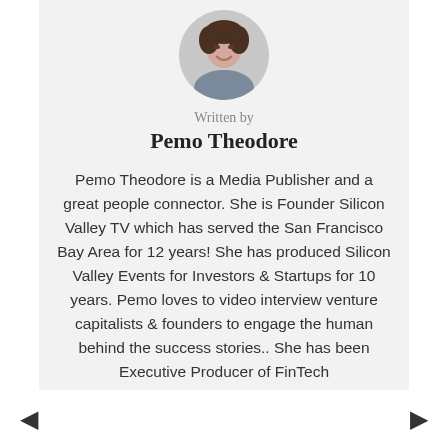[Figure (photo): Circular profile photo of Pemo Theodore, a woman with dark hair, smiling, shown from shoulders up against a light background]
Written by
Pemo Theodore
Pemo Theodore is a Media Publisher and a great people connector. She is Founder Silicon Valley TV which has served the San Francisco Bay Area for 12 years! She has produced Silicon Valley Events for Investors & Startups for 10 years. Pemo loves to video interview venture capitalists & founders to engage the human behind the success stories.. She has been Executive Producer of FinTech